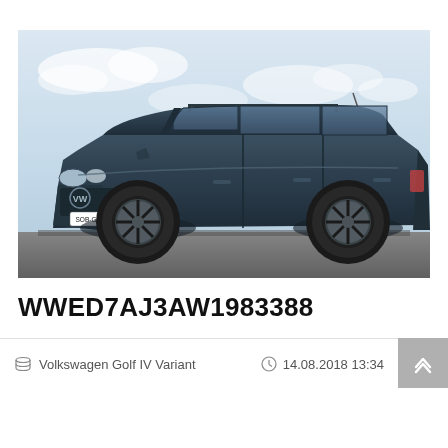[Figure (photo): A dark teal/green Volkswagen Golf IV Variant (station wagon) photographed from a front three-quarter angle, parked on a grey surface against a light blue cloudy sky. License plate reads SOB-GL 620.]
WWED7AJ3AW1983388
Volkswagen Golf IV Variant
14.08.2018 13:34